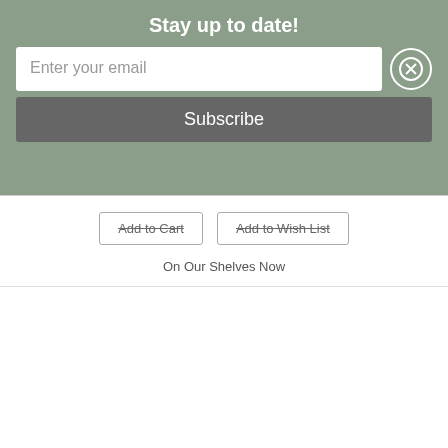Stay up to date!
Enter your email
Subscribe
Add to Cart
Add to Wish List
On Our Shelves Now
[Figure (photo): Book cover of Serafina: Modern Italian Cuisine for Everyday Home Cooking, showing a plate of pasta on a blue background with yellow script title]
Serafina: Modern Italian Cuisine for Everyday Home Cooking (Hardcover)
By Vittorio Assaf, Fabio Granato, Lavinia Branca Snyder (Text by), Mark Roskams (Photographs by)
$39.95